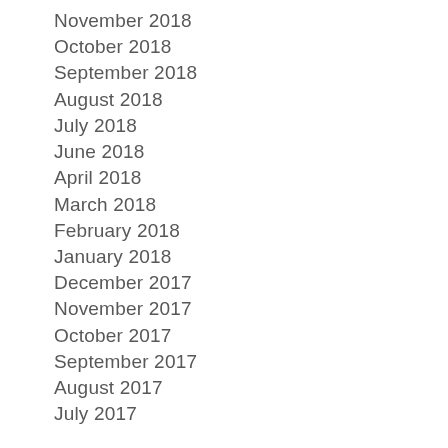November 2018
October 2018
September 2018
August 2018
July 2018
June 2018
April 2018
March 2018
February 2018
January 2018
December 2017
November 2017
October 2017
September 2017
August 2017
July 2017